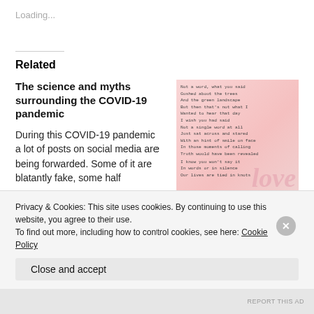Loading...
Related
The science and myths surrounding the COVID-19 pandemic
During this COVID-19 pandemic a lot of posts on social media are being forwarded. Some of it are blatantly fake, some half
April 11, 2021
In "Health and Health
[Figure (illustration): Pink background poem image with handwritten-style text lines visible]
Love Always
July 31, 2022
In "English Poems"
Privacy & Cookies: This site uses cookies. By continuing to use this website, you agree to their use.
To find out more, including how to control cookies, see here: Cookie Policy
Close and accept